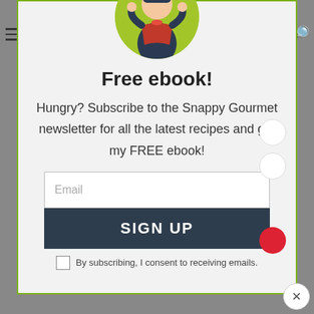[Figure (illustration): Cartoon woman wearing a red apron over dark clothing, standing with hands on hips, on a lime green circular background. Used as avatar/logo for Snappy Gourmet.]
Free ebook!
Hungry? Subscribe to the Snappy Gourmet newsletter for all the latest recipes and get my FREE ebook!
Email
SIGN UP
By subscribing, I consent to receiving emails.